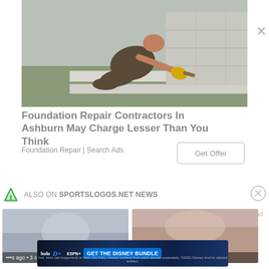[Figure (photo): Person wearing yellow gloves kneeling and painting/sealing a concrete foundation wall outdoors]
Foundation Repair Contractors In Ashburn May Charge Lesser Than You Think
Foundation Repair | Search Ads
Get Offer
ALSO ON SPORTSLOGOS.NET NEWS
[Figure (photo): Thumbnail image - left, with text: •••s ago • 3 comments]
Report an ad
[Figure (photo): Thumbnail image - right, with text: 4 days ago • 10 me...]
[Figure (screenshot): Disney bundle advertisement banner with Hulu, Disney+, ESPN+ logos and GET THE DISNEY BUNDLE call to action]